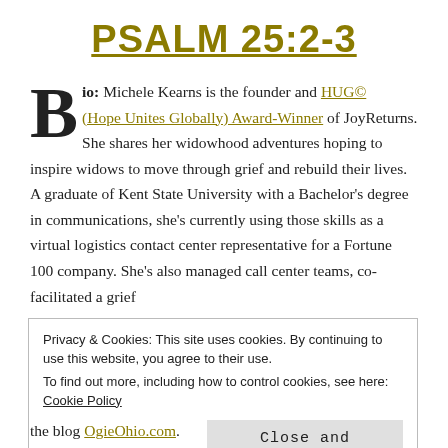PSALM 25:2-3
Bio: Michele Kearns is the founder and HUG© (Hope Unites Globally) Award-Winner of JoyReturns. She shares her widowhood adventures hoping to inspire widows to move through grief and rebuild their lives. A graduate of Kent State University with a Bachelor's degree in communications, she's currently using those skills as a virtual logistics contact center representative for a Fortune 100 company. She's also managed call center teams, co-facilitated a grief
Privacy & Cookies: This site uses cookies. By continuing to use this website, you agree to their use.
To find out more, including how to control cookies, see here: Cookie Policy

Close and accept
the blog OgieOhio.com.